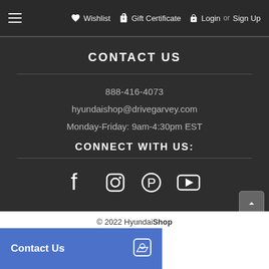Wishlist  Gift Certificate  Login or Sign Up
CONTACT US
888-416-4073
hyundaishop@drivegarvey.com
Monday-Friday: 9am-4:30pm EST
CONNECT WITH US:
[Figure (infographic): Social media icons: Facebook, Instagram, Pinterest, YouTube]
© 2022 HyundaiShop  Contact Us